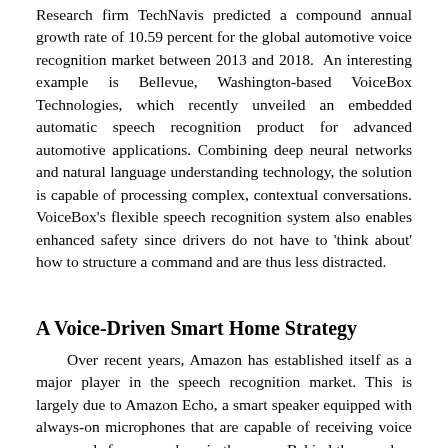Research firm TechNavis predicted a compound annual growth rate of 10.59 percent for the global automotive voice recognition market between 2013 and 2018. An interesting example is Bellevue, Washington-based VoiceBox Technologies, which recently unveiled an embedded automatic speech recognition product for advanced automotive applications. Combining deep neural networks and natural language understanding technology, the solution is capable of processing complex, contextual conversations. VoiceBox’s flexible speech recognition system also enables enhanced safety since drivers do not have to ‘think about’ how to structure a command and are thus less distracted.
A Voice-Driven Smart Home Strategy
Over recent years, Amazon has established itself as a major player in the speech recognition market. This is largely due to Amazon Echo, a smart speaker equipped with always-on microphones that are capable of receiving voice commands from anywhere in the room. Behind the wonders of cylinder-shaped Echo is Alexa, Amazon’s speech recognition system.
Similar to other virtual assistants, Alexa gives hands-free access to a variety of functionalities, such as weather, calendar,